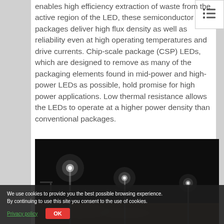enables high efficiency extraction of waste from the active region of the LED, these semiconductor packages deliver high flux density as well as reliability even at high operating temperatures and drive currents. Chip-scale package (CSP) LEDs, which are designed to remove as many of the packaging elements found in mid-power and high-power LEDs as possible, hold promise for high power applications. Low thermal resistance allows the LEDs to operate at a higher power density than conventional packages.
[Figure (photo): Night-time photo of a sports stadium or athletic field illuminated by bright LED floodlights mounted on tall poles, with the track and field visible at the bottom.]
We use cookies to provide you the best possible browsing experience. By continuing to use this site you consent to the use of cookies.